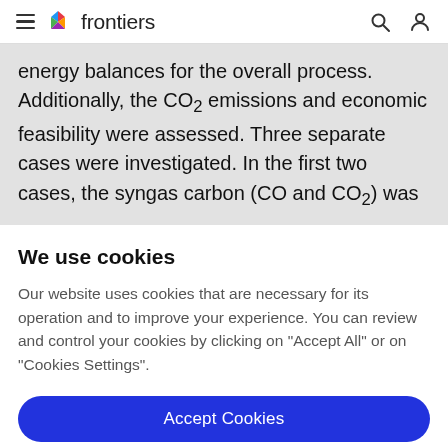frontiers
energy balances for the overall process. Additionally, the CO₂ emissions and economic feasibility were assessed. Three separate cases were investigated. In the first two cases, the syngas carbon (CO and CO₂) was
We use cookies
Our website uses cookies that are necessary for its operation and to improve your experience. You can review and control your cookies by clicking on "Accept All" or on "Cookies Settings".
Accept Cookies
Cookies Settings